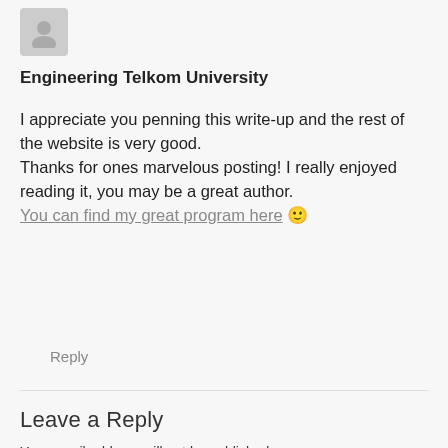[Figure (illustration): Gray avatar/profile placeholder image showing a generic person silhouette]
Engineering Telkom University
I appreciate you penning this write-up and the rest of the website is very good.
Thanks for ones marvelous posting! I really enjoyed reading it, you may be a great author.
You can find my great program here 🙂
Reply
Leave a Reply
Your email address will not be published. Required fields are marked *